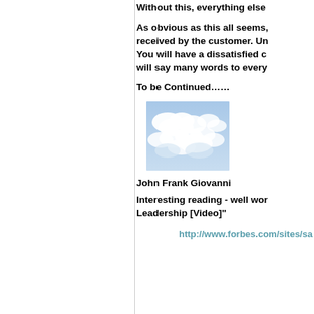Without this, everything else
As obvious as this all seems, received by the customer. Un... You will have a dissatisfied c... will say many words to every...
To be Continued……
[Figure (photo): A photograph of blue sky with white clouds]
John Frank Giovanni
Interesting reading - well wor... Leadership [Video]"
http://www.forbes.com/sites/sa...